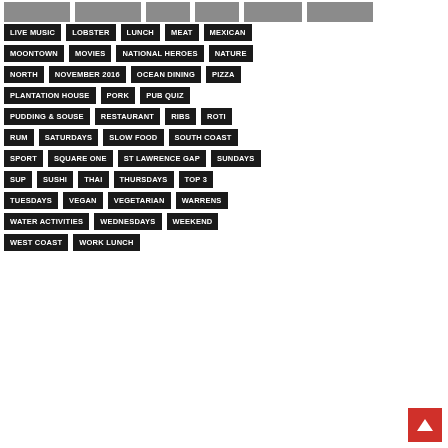LIVE MUSIC
LOBSTER
LUNCH
MEAT
MEXICAN
MOONTOWN
MOVIES
NATIONAL HEROES
NATURE
NORTH
NOVEMBER 2016
OCEAN DINING
PIZZA
PLANTATION HOUSE
PORK
PUB QUIZ
PUDDING & SOUSE
RESTAURANT
RIBS
ROTI
RUM
SATURDAYS
SLOW FOOD
SOUTH COAST
SPORT
SQUARE ONE
ST LAWRENCE GAP
SUNDAYS
SUP
SUSHI
THAI
THURSDAYS
TOP 3
TUESDAYS
VEGAN
VEGETARIAN
WARRENS
WATER ACTIVITIES
WEDNESDAYS
WEEKEND
WEST COAST
WORK LUNCH